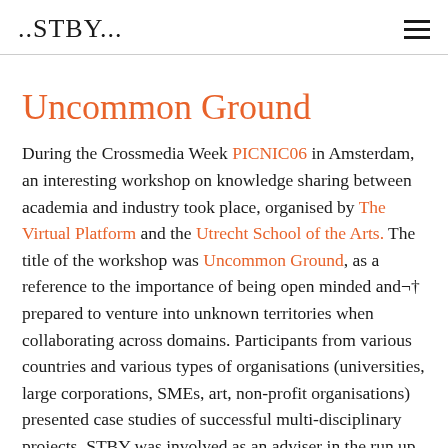..STBY...
Uncommon Ground
During the Crossmedia Week PICNIC06 in Amsterdam, an interesting workshop on knowledge sharing between academia and industry took place, organised by The Virtual Platform and the Utrecht School of the Arts. The title of the workshop was Uncommon Ground, as a reference to the importance of being open minded and¬† prepared to venture into unknown territories when collaborating across domains. Participants from various countries and various types of organisations (universities, large corporations, SMEs, art, non-profit organisations) presented case studies of successful multi-disciplinary projects. STBY was involved as an adviser in the run up to the workshop and participated during the event as the chair in one the